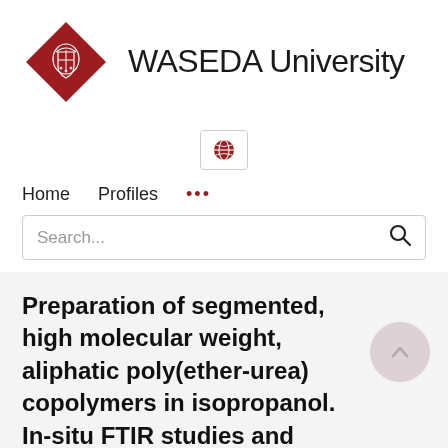[Figure (logo): Waseda University logo with red diamond shape containing a crest icon, followed by text 'WASEDA University']
[Figure (other): Globe/language selector button icon in a small bordered box]
Home   Profiles   ...
Search...
Preparation of segmented, high molecular weight, aliphatic poly(ether-urea) copolymers in isopropanol. In-situ FTIR studies and polymer synthesis